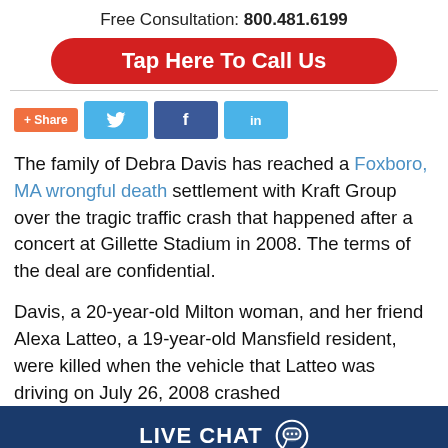Free Consultation: 800.481.6199
[Figure (other): Red rounded button: Tap Here To Call Us]
[Figure (other): Social share buttons: + Share, Twitter, Facebook, LinkedIn]
The family of Debra Davis has reached a Foxboro, MA wrongful death settlement with Kraft Group over the tragic traffic crash that happened after a concert at Gillette Stadium in 2008. The terms of the deal are confidential.
Davis, a 20-year-old Milton woman, and her friend Alexa Latteo, a 19-year-old Mansfield resident, were killed when the vehicle that Latteo was driving on July 26, 2008 crashed
LIVE CHAT